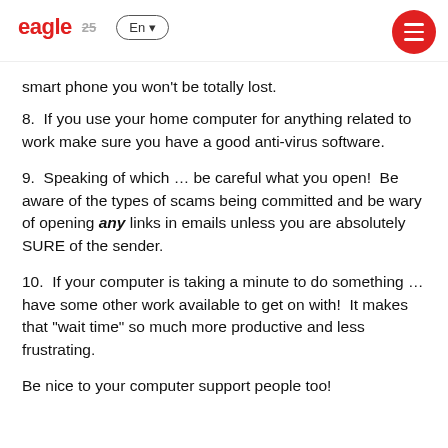eagle 25  En  [menu]
smart phone you won't be totally lost.
8.  If you use your home computer for anything related to work make sure you have a good anti-virus software.
9.  Speaking of which … be careful what you open!  Be aware of the types of scams being committed and be wary of opening any links in emails unless you are absolutely SURE of the sender.
10.  If your computer is taking a minute to do something … have some other work available to get on with!  It makes that “wait time” so much more productive and less frustrating.
Be nice to your computer support people too!